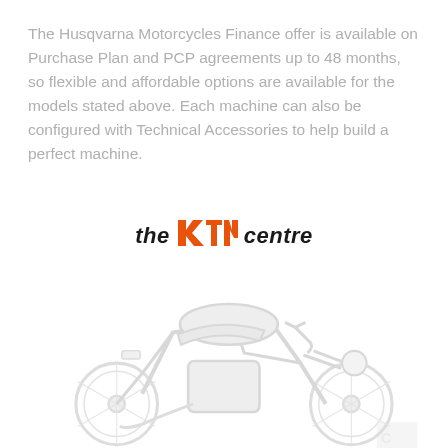The Husqvarna Motorcycles Finance offer is available on Purchase Plan and PCP agreements up to 48 months, so flexible and affordable options are available for the models stated above. Each machine can also be configured with Technical Accessories to help build a perfect machine.
[Figure (logo): The KTM Centre logo with KTM in orange italic bold text between 'the' and 'centre' in black italic bold text]
[Figure (photo): Faded watermark-style image of a Husqvarna motorcycle (retro/scrambler style) shown from the side, very light grey tones against white background, with a small logo visible at bottom right]